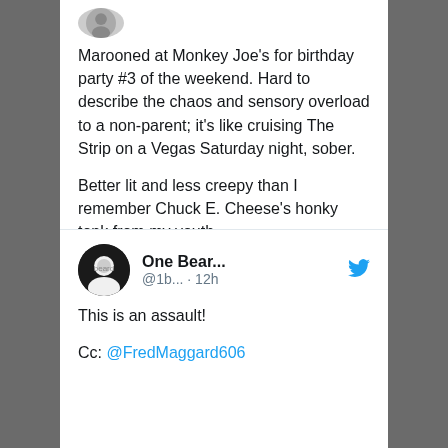Marooned at Monkey Joe's for birthday party #3 of the weekend. Hard to describe the chaos and sensory overload to a non-parent; it's like cruising The Strip on a Vegas Saturday night, sober.

Better lit and less creepy than I remember Chuck E. Cheese's honky tonk from my youth.
[Figure (screenshot): Tweet action icons: reply and heart with count 7]
One Bear... @1b... · 12h
This is an assault!
Cc: @FredMaggard606